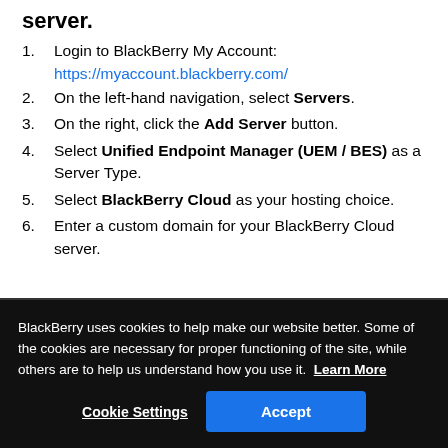server.
1. Login to BlackBerry My Account: https://myaccount.blackberry.com/
2. On the left-hand navigation, select Servers.
3. On the right, click the Add Server button.
4. Select Unified Endpoint Manager (UEM / BES) as a Server Type.
5. Select BlackBerry Cloud as your hosting choice.
6. Enter a custom domain for your BlackBerry Cloud server.
BlackBerry uses cookies to help make our website better. Some of the cookies are necessary for proper functioning of the site, while others are to help us understand how you use it. Learn More
Cookie Settings | Accept